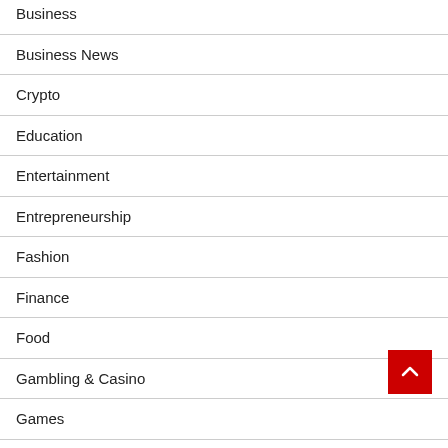Business
Business News
Crypto
Education
Entertainment
Entrepreneurship
Fashion
Finance
Food
Gambling & Casino
Games
Games News
Health
Health & Beauty